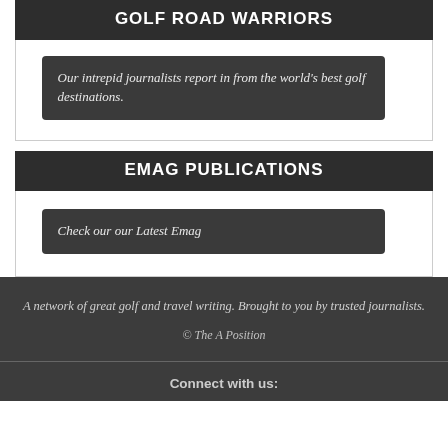GOLF ROAD WARRIORS
Our intrepid journalists report in from the world's best golf destinations.
EMAG PUBLICATIONS
Check our our Latest Emag
A network of great golf and travel writing. Brought to you by trusted journalists.
© The A Position
Connect with us: